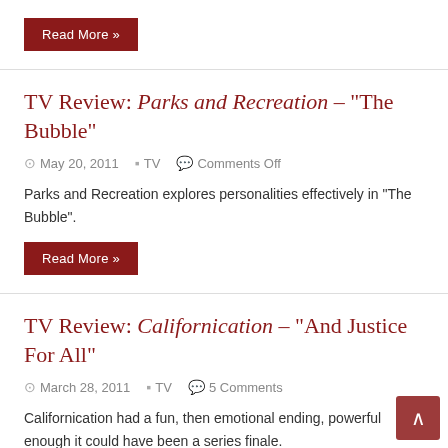Read More »
TV Review: Parks and Recreation – "The Bubble"
May 20, 2011   TV   Comments Off
Parks and Recreation explores personalities effectively in "The Bubble".
Read More »
TV Review: Californication – "And Justice For All"
March 28, 2011   TV   5 Comments
Californication had a fun, then emotional ending, powerful enough it could have been a series finale.
Read More »